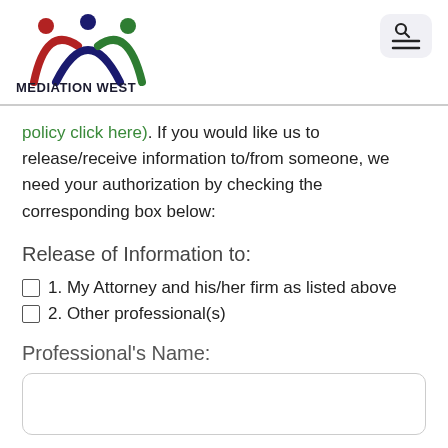[Figure (logo): Mediation West logo with stylized figures in red, navy, and green arc shapes above the text MEDIATION WEST in bold navy]
policy click here). If you would like us to release/receive information to/from someone, we need your authorization by checking the corresponding box below:
Release of Information to:
1. My Attorney and his/her firm as listed above
2. Other professional(s)
Professional's Name:
Professional's Phone Number: